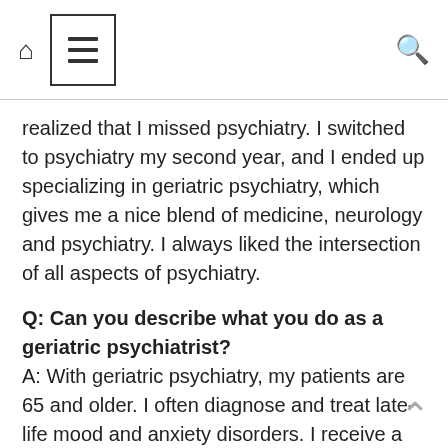[Home icon] [Menu/hamburger icon] [Search icon]
realized that I missed psychiatry. I switched to psychiatry my second year, and I ended up specializing in geriatric psychiatry, which gives me a nice blend of medicine, neurology and psychiatry. I always liked the intersection of all aspects of psychiatry.
Q: Can you describe what you do as a geriatric psychiatrist? A: With geriatric psychiatry, my patients are 65 and older. I often diagnose and treat late-life mood and anxiety disorders. I receive a lot of referrals for cognitive disorders – that includes being able to evaluate, diagnose and treat patients with any type of dementia or neurocognitive impairment ranging from